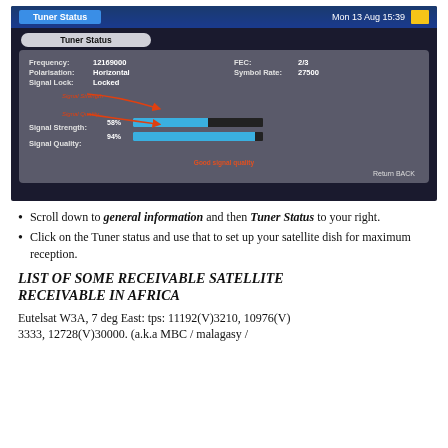[Figure (screenshot): TV screen showing Tuner Status menu with Frequency: 12169000, Polarisation: Horizontal, Signal Lock: Locked, FEC: 2/3, Symbol Rate: 27500, Signal Strength: 58%, Signal Quality: 94%, with red arrows pointing to the signal bars. Date/time Mon 13 Aug 15:39 shown at top right.]
Scroll down to general information and then Tuner Status to your right.
Click on the Tuner status and use that to set up your satellite dish for maximum reception.
LIST OF SOME RECEIVABLE SATELLITE RECEIVABLE IN AFRICA
Eutelsat W3A, 7 deg East: tps: 11192(V)3210, 10976(V) 3333, 12728(V)30000. (a.k.a MBC / malagasy /